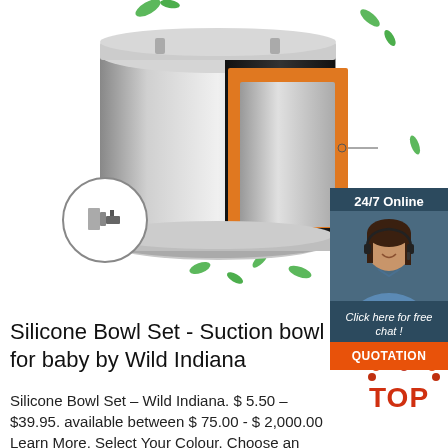[Figure (photo): Product photo of a stainless steel insulated food container/lunch box with cross-section showing black, orange, and silver insulation layers. Small circular inset shows a close-up of the latch mechanism. Green leaves scattered decoratively around the product on a white background.]
[Figure (photo): 24/7 Online customer service widget showing a smiling woman with a headset, with '24/7 Online' header, 'Click here for free chat!' message, and orange QUOTATION button.]
Silicone Bowl Set - Suction bowl for baby by Wild Indiana
Silicone Bowl Set – Wild Indiana. $ 5.50 – $ 39.95. available between $ 75.00 - $ 2,000.00 Learn More. Select Your Colour. Choose an
[Figure (logo): TOP logo with dotted arch of orange-red dots above the word TOP in orange-red text]